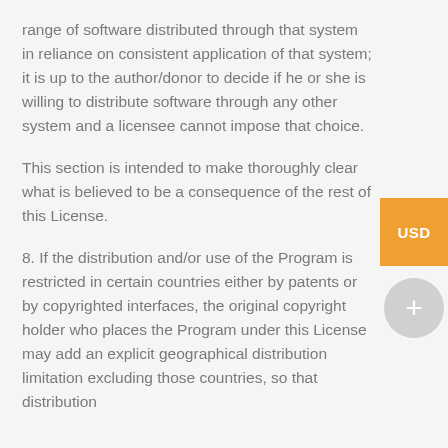range of software distributed through that system in reliance on consistent application of that system; it is up to the author/donor to decide if he or she is willing to distribute software through any other system and a licensee cannot impose that choice.
This section is intended to make thoroughly clear what is believed to be a consequence of the rest of this License.
8. If the distribution and/or use of the Program is restricted in certain countries either by patents or by copyrighted interfaces, the original copyright holder who places the Program under this License may add an explicit geographical distribution limitation excluding those countries, so that distribution